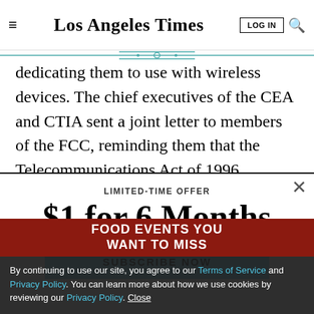Los Angeles Times
dedicating them to use with wireless devices. The chief executives of the CEA and CTIA sent a joint letter to members of the FCC, reminding them that the Telecommunications Act of 1996 required the commission to review how the digital TV airwaves were
LIMITED-TIME OFFER
$1 for 6 Months
SUBSCRIBE NOW
By continuing to use our site, you agree to our Terms of Service and Privacy Policy. You can learn more about how we use cookies by reviewing our Privacy Policy. Close